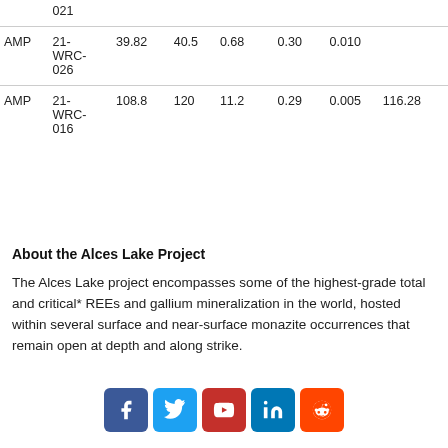|  | 021 |  |  |  |  |  |  |
| AMP | 21-WRC-026 | 39.82 | 40.5 | 0.68 | 0.30 | 0.010 |  |
| AMP | 21-WRC-016 | 108.8 | 120 | 11.2 | 0.29 | 0.005 | 116.28 |
About the Alces Lake Project
The Alces Lake project encompasses some of the highest-grade total and critical* REEs and gallium mineralization in the world, hosted within several surface and near-surface monazite occurrences that remain open at depth and along strike.
[Figure (other): Social media icons: Facebook, Twitter, YouTube, LinkedIn, Reddit]